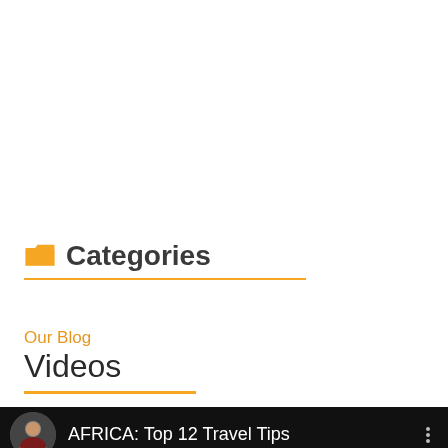Categories
Our Blog
Videos
[Figure (screenshot): Video thumbnail card on black background showing 'AFRICA: Top 12 Travel Tips' with a circular portrait image and a vertical three-dot menu icon]